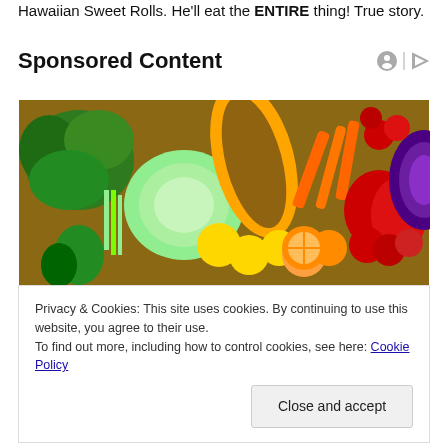Hawaiian Sweet Rolls. He'll eat the ENTIRE thing! True story.
Sponsored Content
[Figure (photo): Colorful assortment of vegetables and fruits including broccoli, cabbage, papaya, oranges, carrots, red peppers, tomatoes, and red cabbage arranged in a rainbow pattern on a wooden surface.]
Privacy & Cookies: This site uses cookies. By continuing to use this website, you agree to their use.
To find out more, including how to control cookies, see here: Cookie Policy
Close and accept